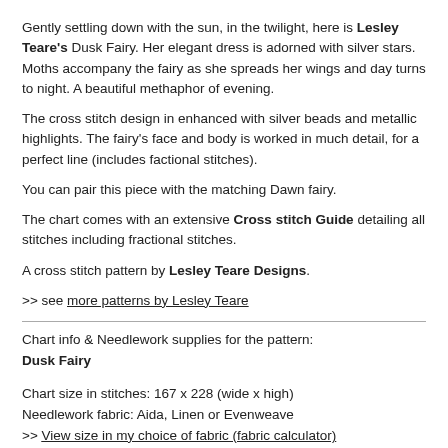Gently settling down with the sun, in the twilight, here is Lesley Teare's Dusk Fairy. Her elegant dress is adorned with silver stars. Moths accompany the fairy as she spreads her wings and day turns to night. A beautiful methaphor of evening.
The cross stitch design in enhanced with silver beads and metallic highlights. The fairy's face and body is worked in much detail, for a perfect line (includes factional stitches).
You can pair this piece with the matching Dawn fairy.
The chart comes with an extensive Cross stitch Guide detailing all stitches including fractional stitches.
A cross stitch pattern by Lesley Teare Designs.
>> see more patterns by Lesley Teare
Chart info & Needlework supplies for the pattern:
Dusk Fairy
Chart size in stitches: 167 x 228 (wide x high)
Needlework fabric: Aida, Linen or Evenweave
>> View size in my choice of fabric (fabric calculator)